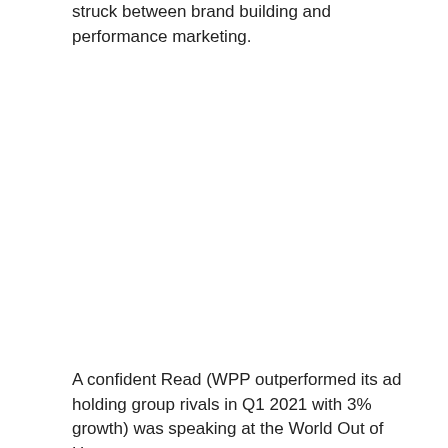struck between brand building and performance marketing.
A confident Read (WPP outperformed its ad holding group rivals in Q1 2021 with 3% growth) was speaking at the World Out of Home